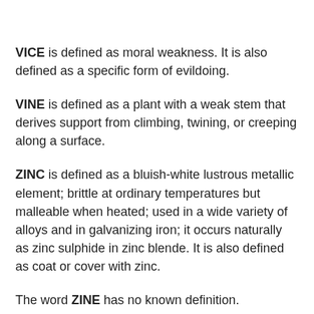VICE is defined as moral weakness. It is also defined as a specific form of evildoing.
VINE is defined as a plant with a weak stem that derives support from climbing, twining, or creeping along a surface.
ZINC is defined as a bluish-white lustrous metallic element; brittle at ordinary temperatures but malleable when heated; used in a wide variety of alloys and in galvanizing iron; it occurs naturally as zinc sulphide in zinc blende. It is also defined as coat or cover with zinc.
The word ZINE has no known definition.
ZITI is defined as medium-sized tubular pasta in short pieces.